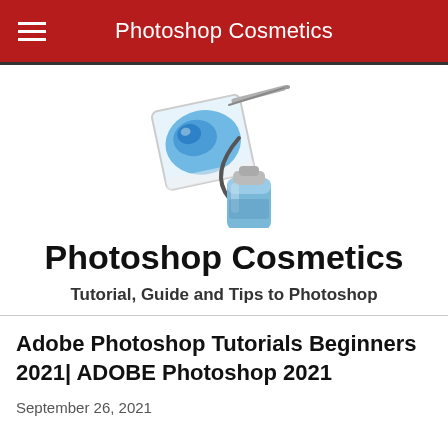Photoshop Cosmetics
[Figure (logo): Airbrush tool icon with blue paint canister and photo frame, Photoshop Cosmetics logo]
Photoshop Cosmetics
Tutorial, Guide and Tips to Photoshop
Adobe Photoshop Tutorials Beginners 2021| ADOBE Photoshop 2021
September 26, 2021